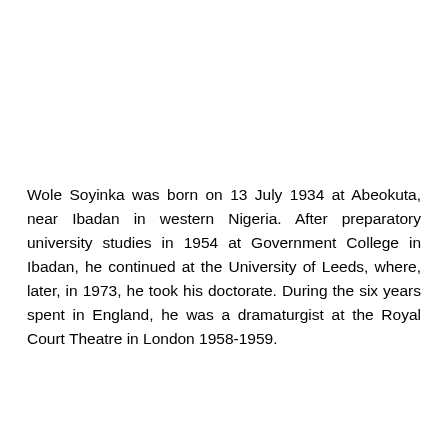Wole Soyinka was born on 13 July 1934 at Abeokuta, near Ibadan in western Nigeria. After preparatory university studies in 1954 at Government College in Ibadan, he continued at the University of Leeds, where, later, in 1973, he took his doctorate. During the six years spent in England, he was a dramaturgist at the Royal Court Theatre in London 1958-1959.